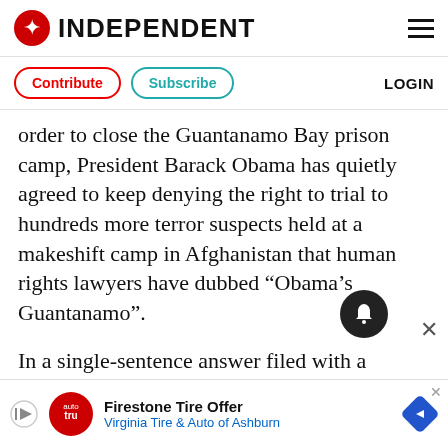INDEPENDENT
Contribute  Subscribe  LOGIN
order to close the Guantanamo Bay prison camp, President Barack Obama has quietly agreed to keep denying the right to trial to hundreds more terror suspects held at a makeshift camp in Afghanistan that human rights lawyers have dubbed “Obama’s Guantanamo”.
In a single-sentence answer filed with a Washington court, the administration dashed hopes that it would immediately rip up Bush-era policies that have kept more than 600…
Firestone Tire Offer
Virginia Tire & Auto of Ashburn